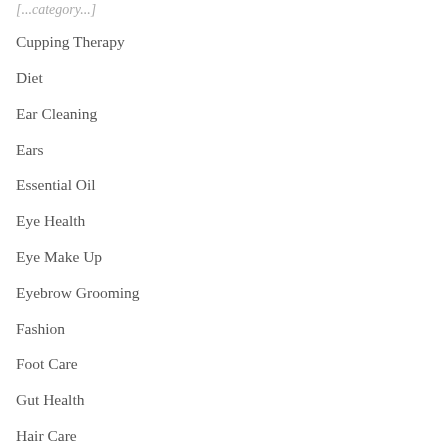Cupping Therapy
Diet
Ear Cleaning
Ears
Essential Oil
Eye Health
Eye Make Up
Eyebrow Grooming
Fashion
Foot Care
Gut Health
Hair Care